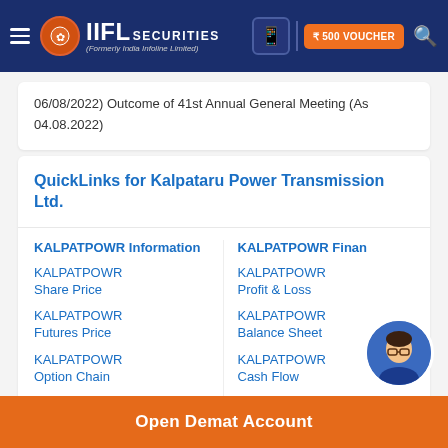IIFL Securities (Formerly India Infoline Limited) — ₹500 VOUCHER
06/08/2022) Outcome of 41st Annual General Meeting (As 04.08.2022)
QuickLinks for Kalpataru Power Transmission Ltd.
KALPATPOWR Information
KALPATPOWR Share Price
KALPATPOWR Futures Price
KALPATPOWR Option Chain
KALPATPOWR Finan
KALPATPOWR Profit & Loss
KALPATPOWR Balance Sheet
KALPATPOWR Cash Flow
KALPATPOWR
Open Demat Account